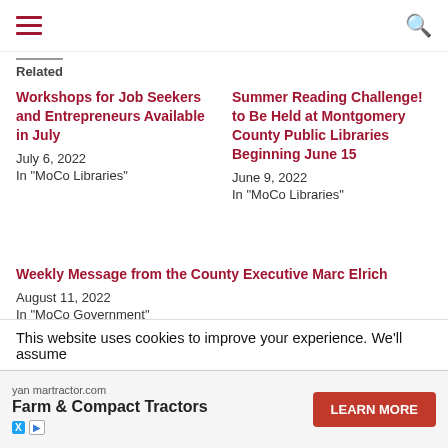Navigation header with hamburger menu and search icon
Related
Workshops for Job Seekers and Entrepreneurs Available in July
July 6, 2022
In "MoCo Libraries"
Summer Reading Challenge! to Be Held at Montgomery County Public Libraries Beginning June 15
June 9, 2022
In "MoCo Libraries"
Weekly Message from the County Executive Marc Elrich
August 11, 2022
In "MoCo Government"
[Figure (screenshot): Advertisement banner: 'For those who dare' in blue serif font on light gray background]
This website uses cookies to improve your experience. We'll assume
you're
cept
[Figure (infographic): Ad banner: yan martractor.com – Farm & Compact Tractors – LEARN MORE button in red]